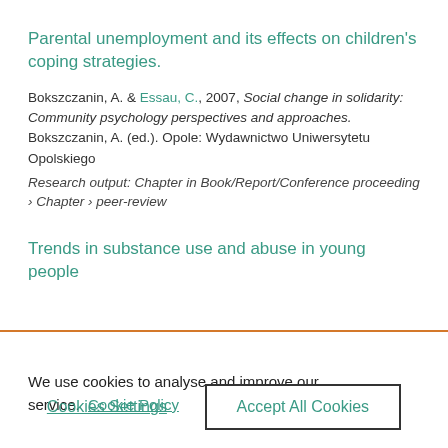Parental unemployment and its effects on children's coping strategies.
Bokszczanin, A. & Essau, C., 2007, Social change in solidarity: Community psychology perspectives and approaches. Bokszczanin, A. (ed.). Opole: Wydawnictwo Uniwersytetu Opolskiego
Research output: Chapter in Book/Report/Conference proceeding › Chapter › peer-review
Trends in substance use and abuse in young people
We use cookies to analyse and improve our service.  Cookie Policy
Cookies Settings
Accept All Cookies